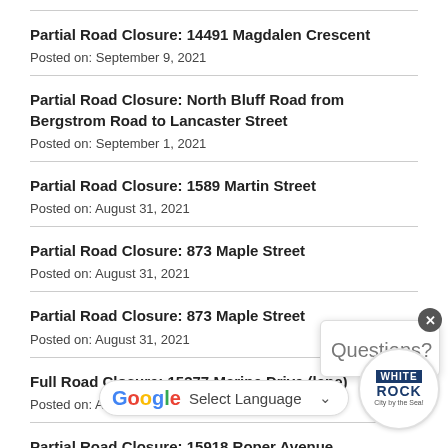Partial Road Closure: 14491 Magdalen Crescent
Posted on: September 9, 2021
Partial Road Closure: North Bluff Road from Bergstrom Road to Lancaster Street
Posted on: September 1, 2021
Partial Road Closure: 1589 Martin Street
Posted on: August 31, 2021
Partial Road Closure: 873 Maple Street
Posted on: August 31, 2021
Partial Road Closure: 873 Maple Street
Posted on: August 31, 2021
Full Road Closure: 15377 Marine Drive (lane)
Posted on: Aug...
Partial Road Closure: 15918 Roper Avenue